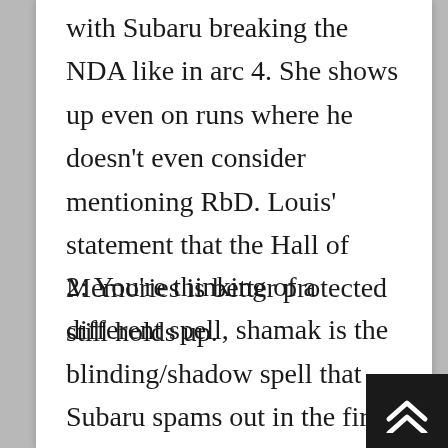with Subaru breaking the NDA like in arc 4. She shows up even on runs where he doesn't even consider mentioning RbD. Louis' statement that the Hall of Memories is better protected still holds up.
2: You're thinking of a different spell, shamak is the blinding/shadow spell that Subaru spams out in the first few arcs. And as for escape, it's